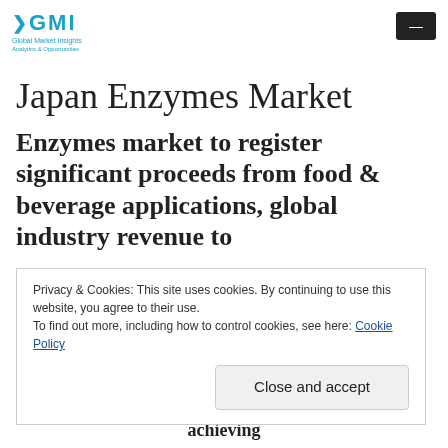[Figure (logo): GMI Global Market Insights logo with teal arrow and text]
Japan Enzymes Market
Enzymes market to register significant proceeds from food & beverage applications, global industry revenue to
Privacy & Cookies: This site uses cookies. By continuing to use this website, you agree to their use.
To find out more, including how to control cookies, see here: Cookie Policy
Close and accept
household and industrial products, particularly for achieving